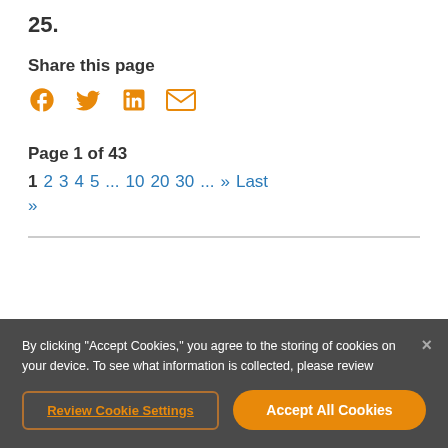25.
Share this page
[Figure (infographic): Social share icons: Facebook (f), Twitter (bird), LinkedIn (in), Email (envelope) in orange]
Page 1 of 43
1  2  3  4  5  ...  10  20  30  ...  »  Last »
By clicking "Accept Cookies," you agree to the storing of cookies on your device. To see what information is collected, please review
Review Cookie Settings
Accept All Cookies